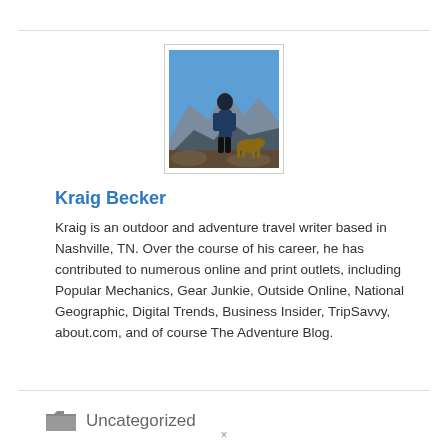[Figure (photo): Profile photo of Kraig Becker standing on a rocky mountain landscape with blue sky, wearing dark outdoor clothing]
Kraig Becker
Kraig is an outdoor and adventure travel writer based in Nashville, TN. Over the course of his career, he has contributed to numerous online and print outlets, including Popular Mechanics, Gear Junkie, Outside Online, National Geographic, Digital Trends, Business Insider, TripSavvy, about.com, and of course The Adventure Blog.
Uncategorized